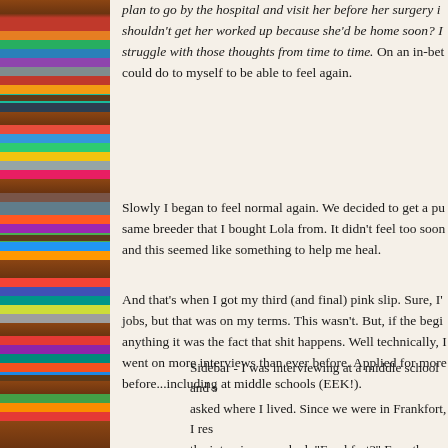plan to go by the hospital and visit her before her surgery in shouldn't get her worked up because she'd be home soon? I struggle with those thoughts from time to time. On an in-bet could do to myself to be able to feel again.
Slowly I began to feel normal again. We decided to get a pu same breeder that I bought Lola from. It didn't feel too soon and this seemed like something to help me heal.
And that's when I got my third (and final) pink slip. Sure, I' jobs, but that was on my terms. This wasn't. But, if the begi anything it was the fact that shit happens. Well technically, I went on more interviews than ever before. Applied for more before...including at middle schools (EEK!).
Sidebar - I was interviewing at a middle school and s asked where I lived. Since we were in Frankfort, I res the interviewers asked, "Frankfort?" Ever the comedi and joked, "No, the school." What? Who does that? W idea during an interview? Answer: Me, aka the perso that school.